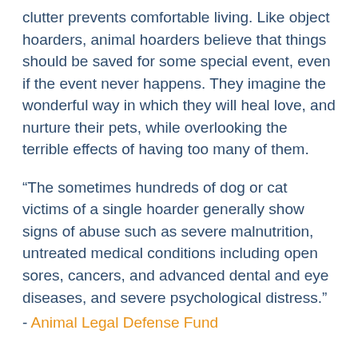clutter prevents comfortable living. Like object hoarders, animal hoarders believe that things should be saved for some special event, even if the event never happens. They imagine the wonderful way in which they will heal love, and nurture their pets, while overlooking the terrible effects of having too many of them.
“The sometimes hundreds of dog or cat victims of a single hoarder generally show signs of abuse such as severe malnutrition, untreated medical conditions including open sores, cancers, and advanced dental and eye diseases, and severe psychological distress.”
- Animal Legal Defense Fund